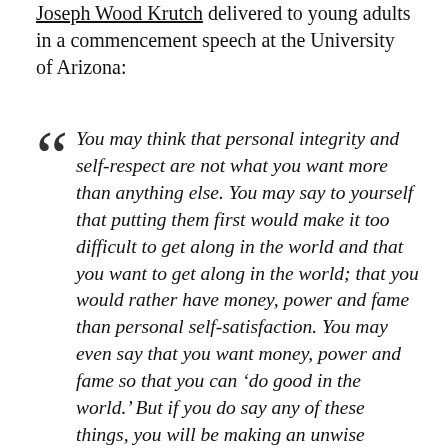Joseph Wood Krutch delivered to young adults in a commencement speech at the University of Arizona:
You may think that personal integrity and self-respect are not what you want more than anything else. You may say to yourself that putting them first would make it too difficult to get along in the world and that you want to get along in the world; that you would rather have money, power and fame than personal self-satisfaction. You may even say that you want money, power and fame so that you can ‘do good in the world.’ But if you do say any of these things, you will be making an unwise choice. You will be surrendering something which cannot be taken away from